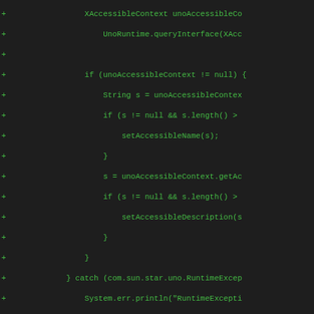[Figure (screenshot): Code diff screenshot showing Java source code additions (green + lines) with UNO accessibility context handling and dbgCheckSelectable method on a dark background]